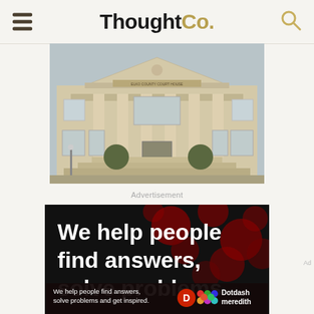ThoughtCo.
[Figure (photo): Front facade of a county courthouse building with classical columns and triangular pediment]
Advertisement
[Figure (infographic): Advertisement banner with dark background and red dot pattern reading 'We help people find answers, solve problems' with Dotdash Meredith branding at bottom]